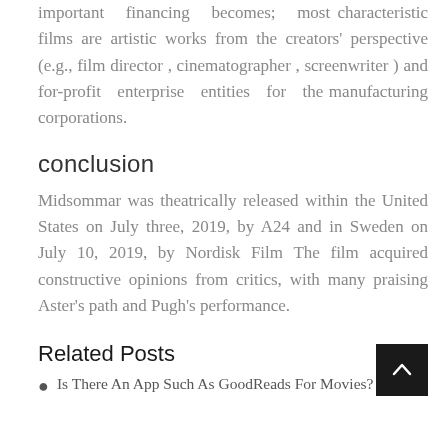important financing becomes; most characteristic films are artistic works from the creators' perspective (e.g., film director , cinematographer , screenwriter ) and for-profit enterprise entities for the manufacturing corporations.
conclusion
Midsommar was theatrically released within the United States on July three, 2019, by A24 and in Sweden on July 10, 2019, by Nordisk Film The film acquired constructive opinions from critics, with many praising Aster's path and Pugh's performance.
Related Posts
Is There An App Such As GoodReads For Movies?